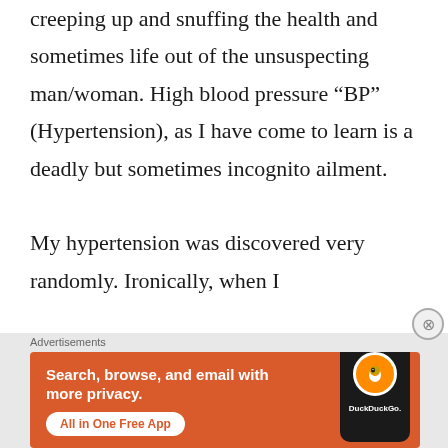creeping up and snuffing the health and sometimes life out of the unsuspecting man/woman. High blood pressure “BP” (Hypertension), as I have come to learn is a deadly but sometimes incognito ailment.

My hypertension was discovered very randomly. Ironically, when I
[Figure (other): DuckDuckGo advertisement banner: orange background with text 'Search, browse, and email with more privacy.' and 'All in One Free App' button, with a smartphone showing the DuckDuckGo logo]